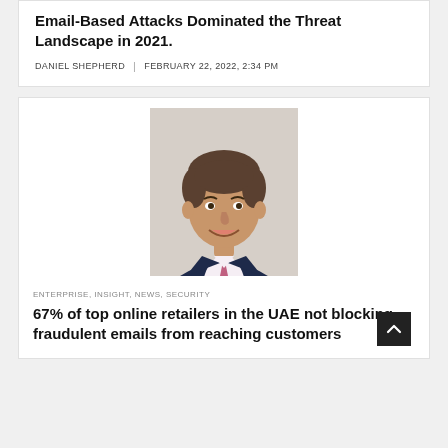Email-Based Attacks Dominated the Threat Landscape in 2021.
DANIEL SHEPHERD | FEBRUARY 22, 2022, 2:34 PM
[Figure (photo): Headshot of a smiling man in a dark navy suit with a pink/purple patterned tie, professional portrait photo]
ENTERPRISE, INSIGHT, NEWS, SECURITY
67% of top online retailers in the UAE not blocking fraudulent emails from reaching customers